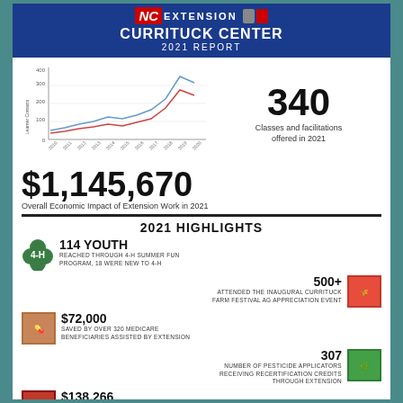NC EXTENSION CURRITUCK CENTER 2021 REPORT
[Figure (line-chart): Line chart showing learner contacts over years, two lines trending upward with a peak then slight drop]
340
Classes and facilitations offered in 2021
$1,145,670
Overall Economic Impact of Extension Work in 2021
2021 HIGHLIGHTS
114 YOUTH - REACHED THROUGH 4-H SUMMER FUN PROGRAM, 18 WERE NEW TO 4-H
500+ ATTENDED THE INAUGURAL CURRITUCK FARM FESTIVAL AG APPRECIATION EVENT
$72,000 SAVED BY OVER 320 MEDICARE BENEFICIARIES ASSISTED BY EXTENSION
307 NUMBER OF PESTICIDE APPLICATORS RECEIVING RECERTIFICATION CREDITS THROUGH EXTENSION
$138,266 VALUE OF VOLUNTEER TIME ON BEHALF OF EXTENSION